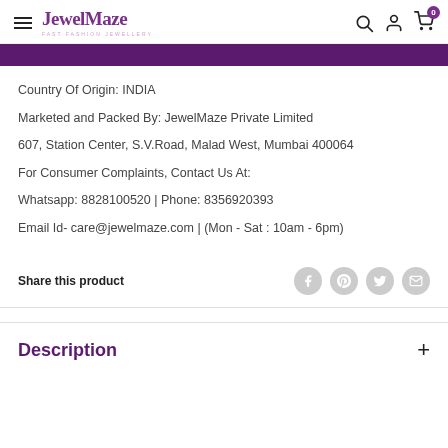JewelMaze — FAST FASHION JEWELLERY
Country Of Origin: INDIA
Marketed and Packed By: JewelMaze Private Limited
607, Station Center, S.V.Road, Malad West, Mumbai 400064
For Consumer Complaints, Contact Us At:
Whatsapp: 8828100520 | Phone: 8356920393
Email Id- care@jewelmaze.com | (Mon - Sat : 10am - 6pm)
Share this product
Description